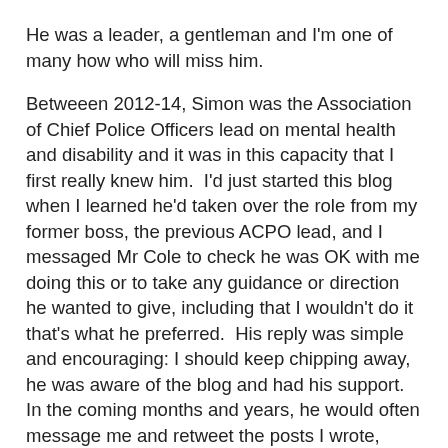He was a leader, a gentleman and I'm one of many how who will miss him.
Betweeen 2012-14, Simon was the Association of Chief Police Officers lead on mental health and disability and it was in this capacity that I first really knew him.  I'd just started this blog when I learned he'd taken over the role from my former boss, the previous ACPO lead, and I messaged Mr Cole to check he was OK with me doing this or to take any guidance or direction he wanted to give, including that I wouldn't do it that's what he preferred.  His reply was simple and encouraging: I should keep chipping away, he was aware of the blog and had his support.  In the coming months and years, he would often message me and retweet the posts I wrote, eventually inviting me to Leicestershire to meet him properly and discuss these issues.  He even wrote a guest post for this blog about 10yrs ago and his support for me and this work was